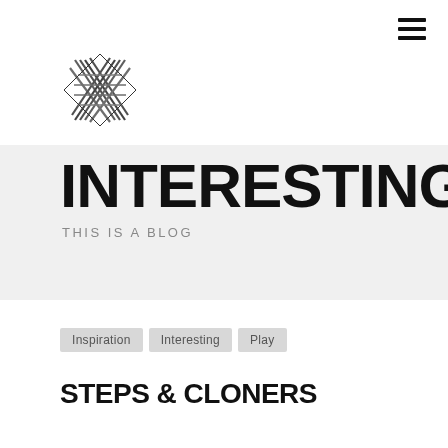[Figure (logo): Geometric X-pattern logo made of diagonal crossing lines in dark gray/black, arranged in a diamond shape]
INTERESTING
THIS IS A BLOG
Inspiration
Interesting
Play
STEPS & CLONERS